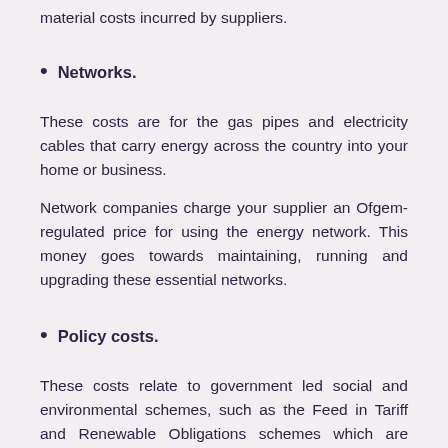material costs incurred by suppliers.
Networks.
These costs are for the gas pipes and electricity cables that carry energy across the country into your home or business.
Network companies charge your supplier an Ofgem-regulated price for using the energy network. This money goes towards maintaining, running and upgrading these essential networks.
Policy costs.
These costs relate to government led social and environmental schemes, such as the Feed in Tariff and Renewable Obligations schemes which are designed to help reduce emissions, save energy and